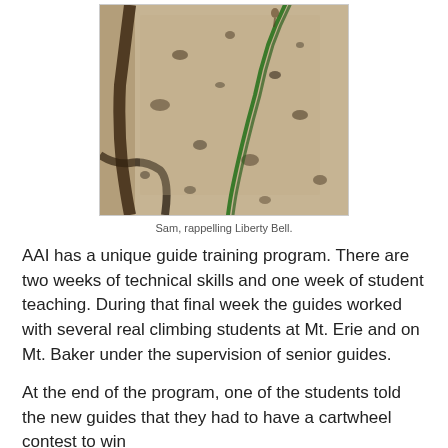[Figure (photo): A close-up photograph of rocky granite surface with a green climbing rope running diagonally across the rock face. A climber is faintly visible at the top of the image rappelling down.]
Sam, rappelling Liberty Bell.
AAI has a unique guide training program. There are two weeks of technical skills and one week of student teaching. During that final week the guides worked with several real climbing students at Mt. Erie and on Mt. Baker under the supervision of senior guides.
At the end of the program, one of the students told the new guides that they had to have a cartwheel contest to win